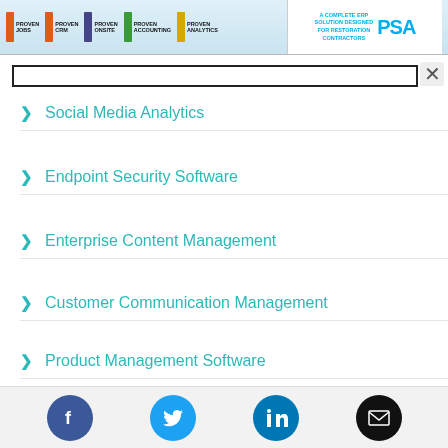Proven Jobs | Proven CRM | Proven Onsite | Proven Accounting | Proven Analytics | PSA - A Complete ERP Solution Designed for Restoration Contractors
Social Media Analytics
Endpoint Security Software
Enterprise Content Management
Customer Communication Management
Product Management Software
HR Case Management
Facebook | Twitter | LinkedIn | Email